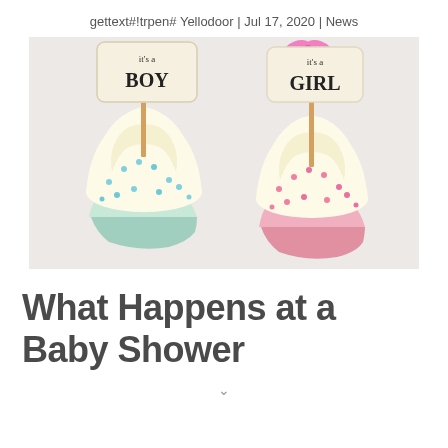gettext#!trpen# Yellodoor | Jul 17, 2020 | News
[Figure (photo): Two cupcakes with white frosting and decorative toppers reading 'It's a BOY' and 'It's a GIRL'. The boy cupcake has blue sprinkles and the girl cupcake has pink sprinkles.]
What Happens at a Baby Shower